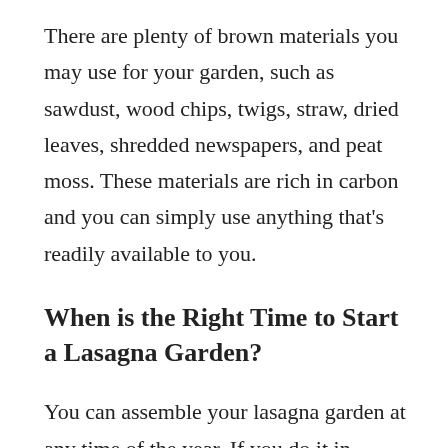There are plenty of brown materials you may use for your garden, such as sawdust, wood chips, twigs, straw, dried leaves, shredded newspapers, and peat moss. These materials are rich in carbon and you can simply use anything that's readily available to you.
When is the Right Time to Start a Lasagna Garden?
You can assemble your lasagna garden at any time of the year. If you do it in autumn, you can easily find fallen leaves and grass clippings. If you want to plant your garden in summer, consider assembling your lasagna garden in